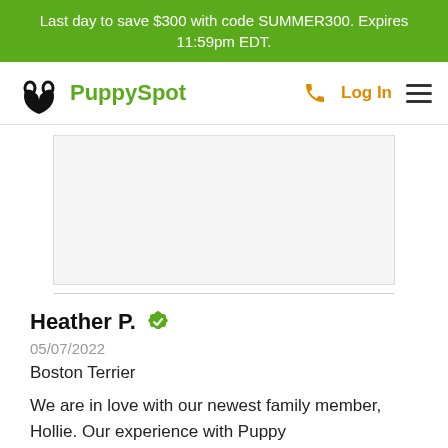Last day to save $300 with code SUMMER300. Expires 11:59pm EDT.
[Figure (logo): PuppySpot logo with paw/heart icon and green text, plus orange phone icon, Log In link, and hamburger menu]
[Figure (photo): Partially visible photo placeholder area, likely a puppy image]
Heather P.
05/07/2022
Boston Terrier
We are in love with our newest family member, Hollie. Our experience with Puppy